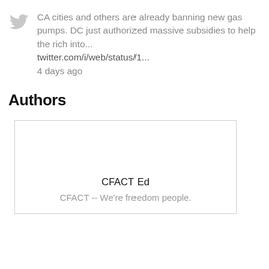CA cities and others are already banning new gas pumps. DC just authorized massive subsidies to help the rich into... twitter.com/i/web/status/1... 4 days ago
Authors
CFACT Ed
CFACT -- We're freedom people.